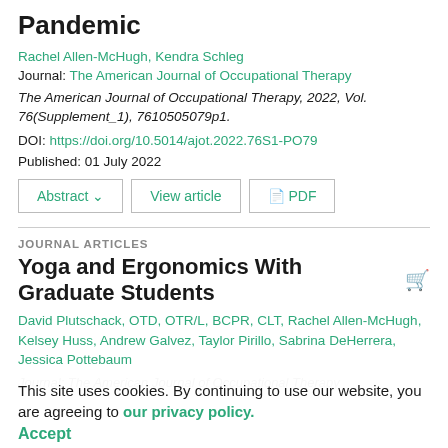Pandemic
Rachel Allen-McHugh, Kendra Schleg
Journal: The American Journal of Occupational Therapy
The American Journal of Occupational Therapy, 2022, Vol. 76(Supplement_1), 7610505079p1.
DOI: https://doi.org/10.5014/ajot.2022.76S1-PO79
Published: 01 July 2022
Abstract  View article  PDF
JOURNAL ARTICLES
Yoga and Ergonomics With Graduate Students
David Plutschack, OTD, OTR/L, BCPR, CLT, Rachel Allen-McHugh, Kelsey Huss, Andrew Galvez, Taylor Pirillo, Sabrina DeHerrera, Jessica Pottebaum
This site uses cookies. By continuing to use our website, you are agreeing to our privacy policy.
Accept